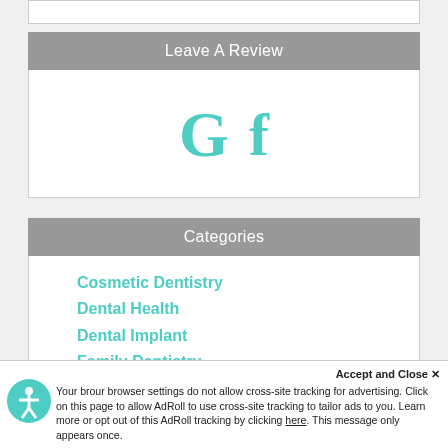Leave A Review
[Figure (logo): Google G icon and Facebook f icon in teal/turquoise color for leaving reviews]
Categories
Cosmetic Dentistry
Dental Health
Dental Implant
Family Dentistry
General Dentistry
Porcelain Veneers
Restorative Dentistry (partially visible)
Accept and Close ✕
Your browser settings do not allow cross-site tracking for advertising. Click on this page to allow AdRoll to use cross-site tracking to tailor ads to you. Learn more or opt out of this AdRoll tracking by clicking here. This message only appears once.